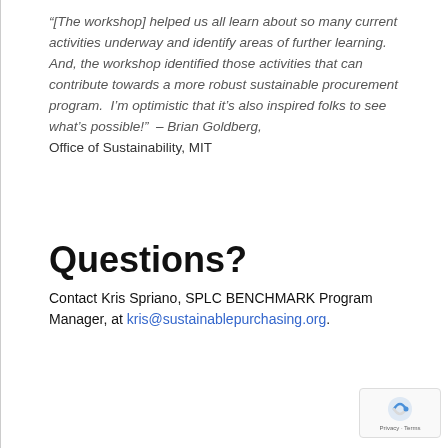“[The workshop] helped us all learn about so many current activities underway and identify areas of further learning.  And, the workshop identified those activities that can contribute towards a more robust sustainable procurement program.  I’m optimistic that it’s also inspired folks to see what’s possible!”  – Brian Goldberg, Office of Sustainability, MIT
Questions?
Contact Kris Spriano, SPLC BENCHMARK Program Manager, at kris@sustainablepurchasing.org.